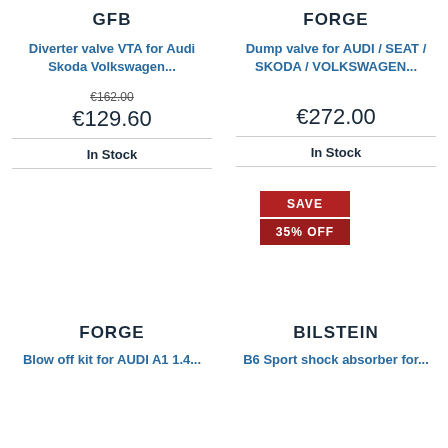GFB
Diverter valve VTA for Audi Skoda Volkswagen...
€162.00 (strikethrough)
€129.60
In Stock
FORGE
Dump valve for AUDI / SEAT / SKODA / VOLKSWAGEN...
€272.00
In Stock
[Figure (infographic): Red badge with SAVE on top section and 35% OFF on bottom section]
FORGE
Blow off kit for AUDI A1 1.4...
BILSTEIN
B6 Sport shock absorber for...